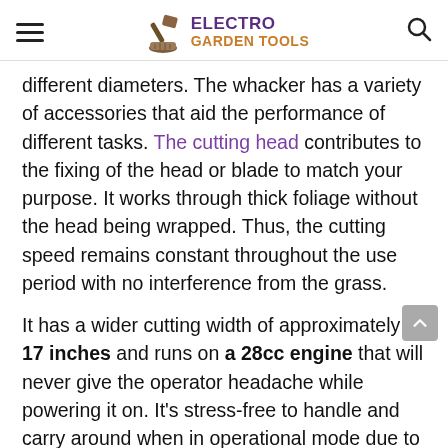ELECTRO GARDEN TOOLS
different diameters. The whacker has a variety of accessories that aid the performance of different tasks. The cutting head contributes to the fixing of the head or blade to match your purpose. It works through thick foliage without the head being wrapped. Thus, the cutting speed remains constant throughout the use period with no interference from the grass.
It has a wider cutting width of approximately 17 inches and runs on a 28cc engine that will never give the operator headache while powering it on. It's stress-free to handle and carry around when in operational mode due to its lightweight.